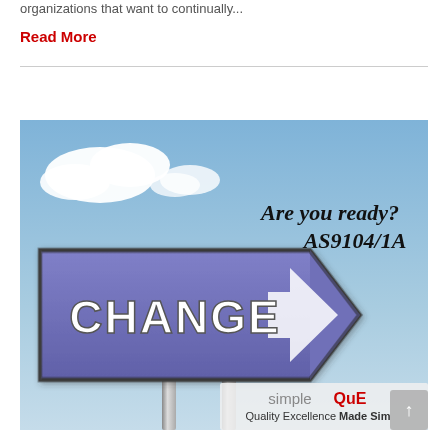organizations that want to continually...
Read More
[Figure (illustration): Advertisement image showing a blue directional road sign with the word CHANGE and an arrow, set against a sky background with clouds. Text overlay reads 'Are you ready? AS9104/1A' and logo at bottom reads 'simpleQuE Quality Excellence Made Simple']